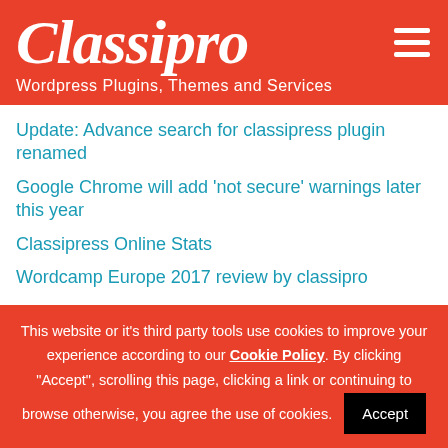Classipro
Wordpress Plugins, Themes and Services
Update: Advance search for classipress plugin renamed
Google Chrome will add 'not secure' warnings later this year
Classipress Online Stats
Wordcamp Europe 2017 review by classipro
This website or it's third party tools use cookies to improve your experience according to our Cookie Policy. By clicking "Accept", scrolling this page, clicking a link or continuing to browse otherwise, you agree the use of cookies.